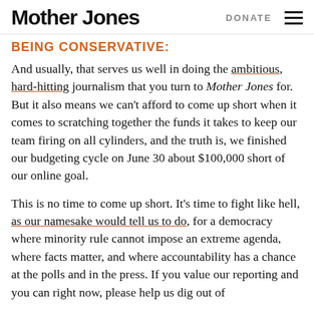Mother Jones | DONATE
BEING CONSERVATIVE:
And usually, that serves us well in doing the ambitious, hard-hitting journalism that you turn to Mother Jones for. But it also means we can't afford to come up short when it comes to scratching together the funds it takes to keep our team firing on all cylinders, and the truth is, we finished our budgeting cycle on June 30 about $100,000 short of our online goal.
This is no time to come up short. It's time to fight like hell, as our namesake would tell us to do, for a democracy where minority rule cannot impose an extreme agenda, where facts matter, and where accountability has a chance at the polls and in the press. If you value our reporting and you can right now, please help us dig out of